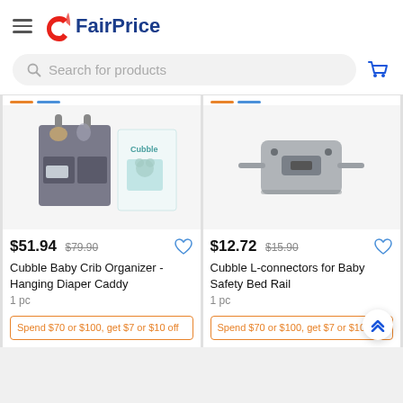FairPrice
Search for products
[Figure (photo): Cubble Baby Crib Organizer - Hanging Diaper Caddy product photo with packaging]
$51.94 $79.90
Cubble Baby Crib Organizer - Hanging Diaper Caddy
1 pc
Spend $70 or $100, get $7 or $10 off
[Figure (photo): Cubble L-connectors for Baby Safety Bed Rail product photo]
$12.72 $15.90
Cubble L-connectors for Baby Safety Bed Rail
1 pc
Spend $70 or $100, get $7 or $10 off